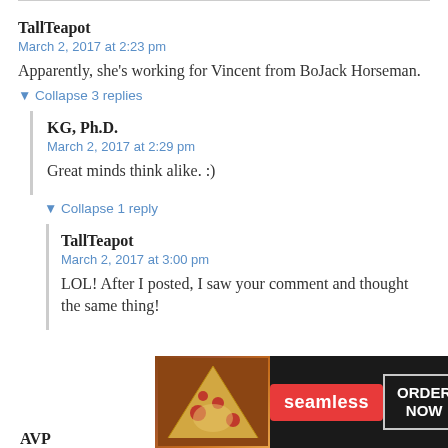TallTeapot
March 2, 2017 at 2:23 pm
Apparently, she’s working for Vincent from BoJack Horseman.
▼ Collapse 3 replies
KG, Ph.D.
March 2, 2017 at 2:29 pm
Great minds think alike. :)
▼ Collapse 1 reply
TallTeapot
March 2, 2017 at 3:00 pm
LOL! After I posted, I saw your comment and thought the same thing!
[Figure (screenshot): Seamless food delivery advertisement with pizza image, seamless logo in red, and ORDER NOW button]
AVP